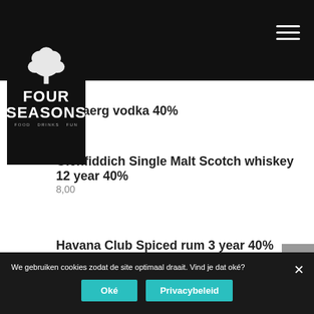[Figure (logo): Four Seasons Food Drinks Fun logo with tree illustration on black background]
Esbjaerg vodka 40%
3,75
Glenfiddich Single Malt Scotch whiskey 12 year 40%
8,00
Havana Club Spiced rum 3 year 40%
We gebruiken cookies zodat de site optimaal draait. Vind je dat oké?
Oké   Privacybeleid